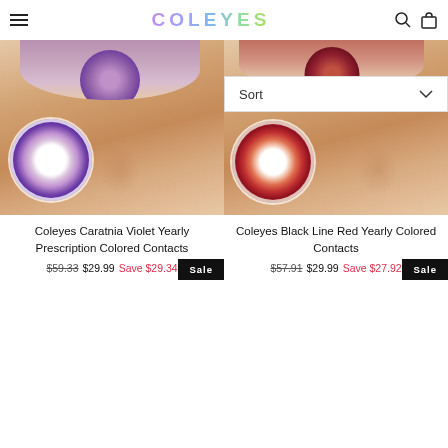COLEYES
[Figure (photo): Close-up of eye with violet/purple colored contact lens, showing lens detail circle overlay]
[Figure (screenshot): Sort dropdown bar overlaying second product image with red colored contact lens eye photo]
Coleyes Caratnia Violet Yearly Prescription Colored Contacts
$59.33  $29.99  Save $29.34
Coleyes Black Line Red Yearly Colored Contacts
$57.91  $29.99  Save $27.92
Sale
Sale